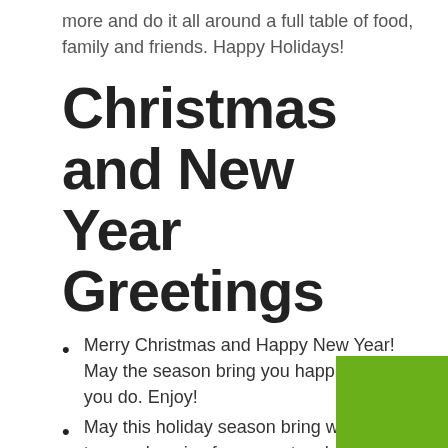more and do it all around a full table of food, family and friends. Happy Holidays!
Christmas and New Year Greetings
Merry Christmas and Happy New Year! May the season bring you happiness in all you do. Enjoy!
May this holiday season bring with it tremendous joy for a spectacular festive season. Merry Christmas and Properous New Year to you!!
May the reasons to celebrate happiness be numerous as the stars in the sky. Merry